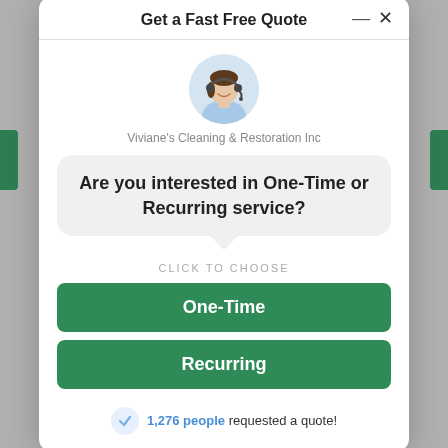Get a Fast Free Quote
[Figure (photo): Customer service representative with headset, circular avatar photo]
Viviane's Cleaning & Restoration Inc
Are you interested in One-Time or Recurring service?
CLICK TO CHOOSE
One-Time
Recurring
1,276 people requested a quote!